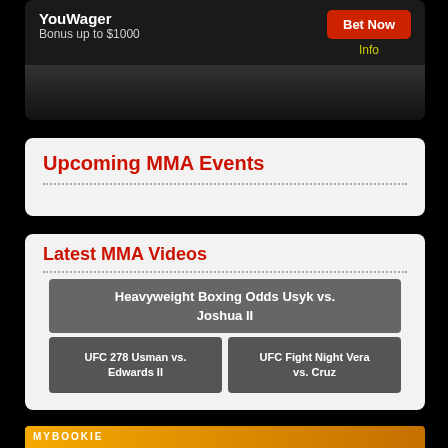[Figure (screenshot): YouWager betting ad banner with 'Bonus up to $1000', red 'Bet Now' button, and yellow 'Info' link on dark background]
Upcoming MMA Events
Latest MMA Videos
Heavyweight Boxing Odds Usyk vs. Joshua II
UFC 278 Usman vs. Edwards II
UFC Fight Night Vera vs. Cruz
[Figure (screenshot): Partial bottom banner in yellow/orange for MyBookie]